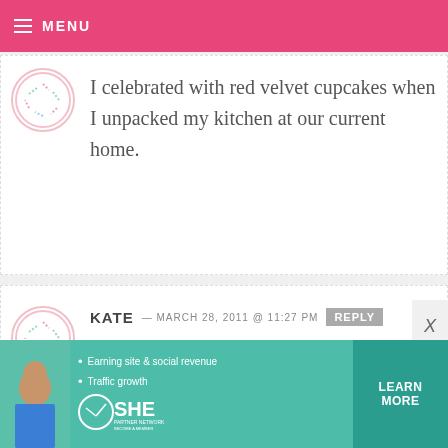MENU
I celebrated with red velvet cupcakes when I unpacked my kitchen at our current home.
KATE — MARCH 28, 2011 @ 11:27 PM REPLY
We celebrated the arrival of our nephew, Wilson, a couple weeks ago!
[Figure (infographic): SHE Partner Network advertisement banner with photo of woman, bullet points about earning site & social revenue and traffic growth, SHE logo, and LEARN MORE button]